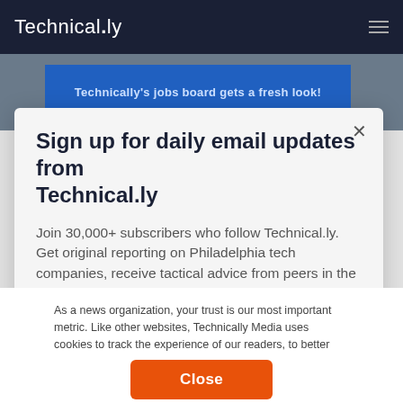Technically
[Figure (screenshot): Blue banner strip partially visible behind modal, with text: Technically's jobs board gets a fresh look!]
Sign up for daily email updates from Technical.ly
Join 30,000+ subscribers who follow Technical.ly. Get original reporting on Philadelphia tech companies, receive tactical advice from peers in the region and find out what
As a news organization, your trust is our most important metric. Like other websites, Technically Media uses cookies to track the experience of our readers, to better understand usage patterns and content preferences. We will not sell or rent your personal information to third parties. For more information or to contact us, read our entire Ethics & Privacy Policy.
Close